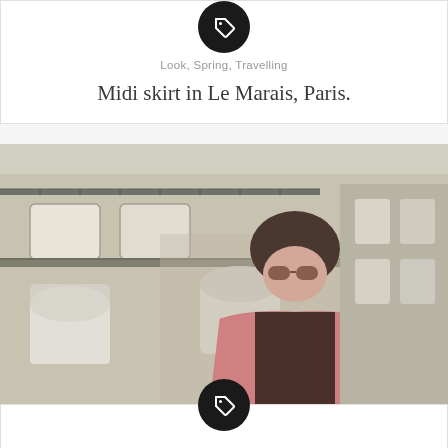[Figure (other): Tag icon in black circle at top of first card]
Look, Spring, Travelling
Midi skirt in Le Marais, Paris.
[Figure (photo): Woman with sunglasses wearing a pink tweed jacket, standing in front of a Parisian building with balconies and arched windows]
[Figure (other): Tag icon in black circle overlapping bottom of photo and top of second card]
Look, Spring, Travelling